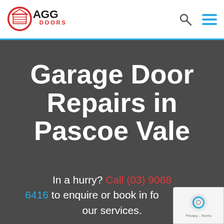[Figure (logo): AGG Doors logo — red circular emblem with garage door icon, bold black AGG text, red DOORS text]
Garage Door Repairs in Pascoe Vale
In a hurry? Call (03) 9068 6416 to enquire or book in for our services.